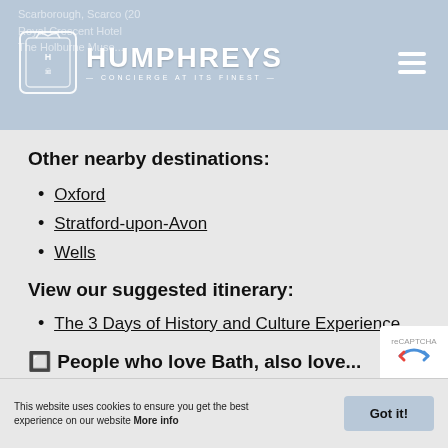HUMPHREYS — CONCIERGE AT ITS FINEST
Other nearby destinations:
Oxford
Stratford-upon-Avon
Wells
View our suggested itinerary:
The 3 Days of History and Culture Experience
🔲 People who love Bath, also love...
(Click the images below to dive into more wonderful experiences!)
This website uses cookies to ensure you get the best experience on our website More info